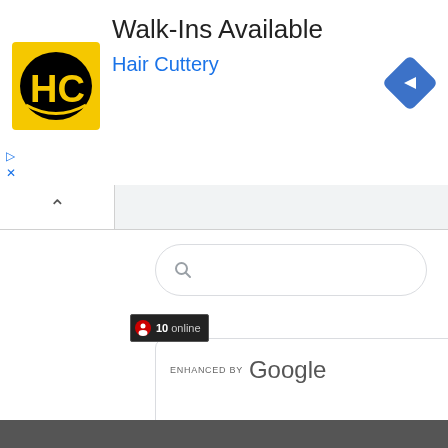[Figure (screenshot): Advertisement banner for Hair Cuttery with yellow HC logo, title 'Walk-Ins Available', and blue navigation diamond icon]
[Figure (screenshot): Browser UI with collapsed tab bar showing caret, a rounded search bar, Google Custom Search Engine box with 'ENHANCED BY Google' text and blue search button, and an online visitor badge showing '10 online']